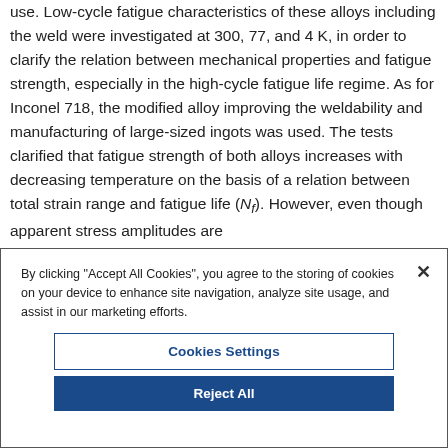use. Low-cycle fatigue characteristics of these alloys including the weld were investigated at 300, 77, and 4 K, in order to clarify the relation between mechanical properties and fatigue strength, especially in the high-cycle fatigue life regime. As for Inconel 718, the modified alloy improving the weldability and manufacturing of large-sized ingots was used. The tests clarified that fatigue strength of both alloys increases with decreasing temperature on the basis of a relation between total strain range and fatigue life (Nf). However, even though apparent stress amplitudes are
By clicking "Accept All Cookies", you agree to the storing of cookies on your device to enhance site navigation, analyze site usage, and assist in our marketing efforts.
Cookies Settings
Reject All